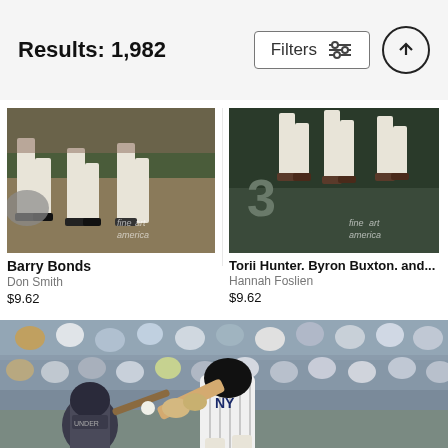Results: 1,982
Filters
[Figure (photo): Baseball players feet/legs on a field — Barry Bonds related photo with fineart america watermark]
Barry Bonds
Don Smith
$9.62
[Figure (photo): Baseball players jumping in air — Torii Hunter, Byron Buxton, and others photo with fineart america watermark]
Torii Hunter. Byron Buxton. and...
Hannah Foslien
$9.62
[Figure (photo): New York Yankees batter swinging at bat with catcher behind home plate, crowd in background — baseball game photo]